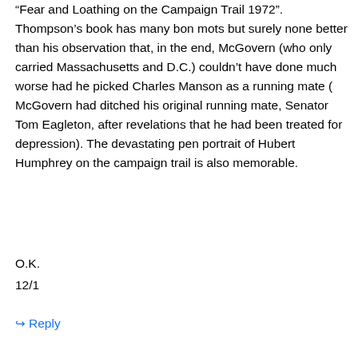“Fear and Loathing on the Campaign Trail 1972”. Thompson’s book has many bon mots but surely none better than his observation that, in the end, McGovern (who only carried Massachusetts and D.C.) couldn’t have done much worse had he picked Charles Manson as a running mate ( McGovern had ditched his original running mate, Senator Tom Eagleton, after revelations that he had been treated for depression). The devastating pen portrait of Hubert Humphrey on the campaign trail is also memorable.
O.K.
12/1
↪ Reply